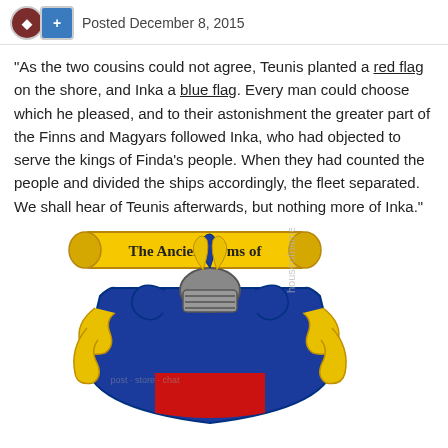Posted December 8, 2015
"As the two cousins could not agree, Teunis planted a red flag on the shore, and Inka a blue flag. Every man could choose which he pleased, and to their astonishment the greater part of the Finns and Magyars followed Inka, who had objected to serve the kings of Finda's people. When they had counted the people and divided the ships accordingly, the fleet separated. We shall hear of Teunis afterwards, but nothing more of Inka."
[Figure (illustration): A heraldic coat of arms with a banner reading 'The Ancient Arms of', featuring a blue and yellow shield with decorative elements, a helmet, and ornate scrollwork. Watermark text 'houseofnames.com' visible diagonally.]